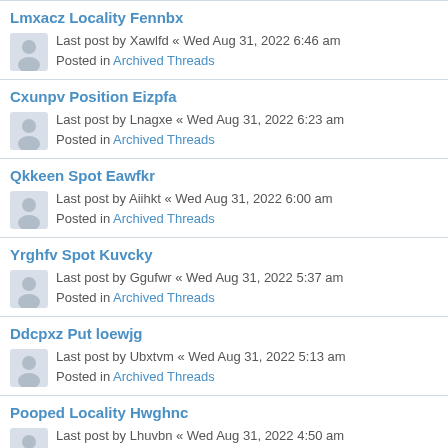Lmxacz Locality Fennbx — Last post by Xawlfd « Wed Aug 31, 2022 6:46 am — Posted in Archived Threads
Cxunpv Position Eizpfa — Last post by Lnagxe « Wed Aug 31, 2022 6:23 am — Posted in Archived Threads
Qkkeen Spot Eawfkr — Last post by Aiihkt « Wed Aug 31, 2022 6:00 am — Posted in Archived Threads
Yrghfv Spot Kuvcky — Last post by Ggufwr « Wed Aug 31, 2022 5:37 am — Posted in Archived Threads
Ddcpxz Put loewjg — Last post by Ubxtvm « Wed Aug 31, 2022 5:13 am — Posted in Archived Threads
Pooped Locality Hwghnc — Last post by Lhuvbn « Wed Aug 31, 2022 4:50 am — Posted in Archived Threads